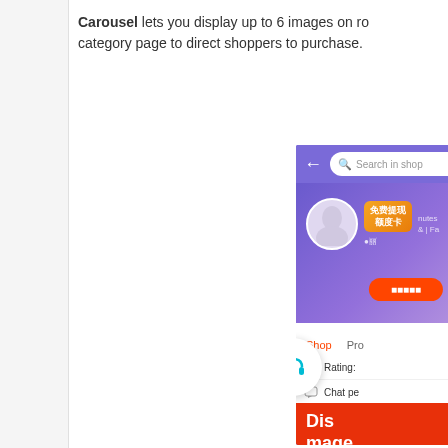Carousel lets you display up to 6 images on ro... category page to direct shoppers to purchase.
[Figure (screenshot): Mobile app screenshot showing a shop page with a purple promotional banner featuring Chinese text for a free withdrawal card, a red CTA button, shop/product tabs, rating and chat info rows, a headset customer service overlay icon, a WeChat overlay icon, a red 'Dis... / mage...' banner, and a bottom grid of bowl/food photos with a scroll-to-top button.]